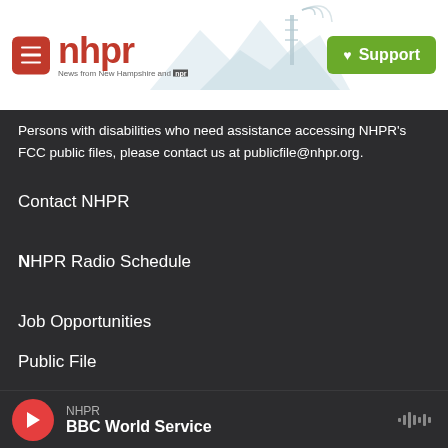nhpr — News from New Hampshire and NPR | Support
Persons with disabilities who need assistance accessing NHPR's FCC public files, please contact us at publicfile@nhpr.org.
Contact NHPR
NHPR Radio Schedule
Job Opportunities
Public File
Terms Of Use
NHPR | BBC World Service